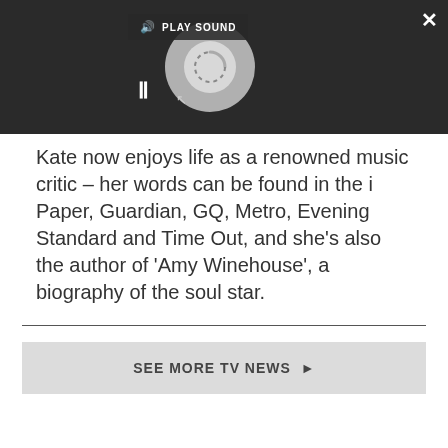[Figure (screenshot): Video player overlay on dark background with PLAY SOUND bar, spinning loader circle, pause button, and expand/close controls]
Kate now enjoys life as a renowned music critic – her words can be found in the i Paper, Guardian, GQ, Metro, Evening Standard and Time Out, and she's also the author of 'Amy Winehouse', a biography of the soul star.
SEE MORE TV NEWS ▶